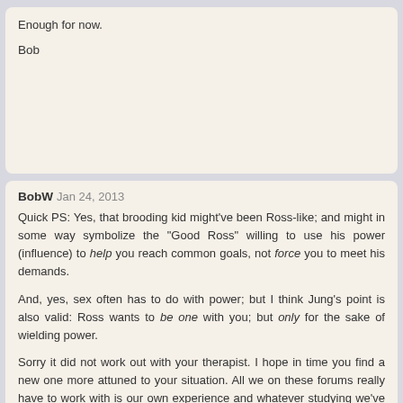Enough for now.

Bob
BobW Jan 24, 2013
Quick PS: Yes, that brooding kid might've been Ross-like; and might in some way symbolize the "Good Ross" willing to use his power (influence) to help you reach common goals, not force you to meet his demands.

And, yes, sex often has to do with power; but I think Jung's point is also valid: Ross wants to be one with you; but only for the sake of wielding power.

Sorry it did not work out with your therapist. I hope in time you find a new one more attuned to your situation. All we on these forums really have to work with is our own experience and whatever studying we've done. But we're here; and we care.